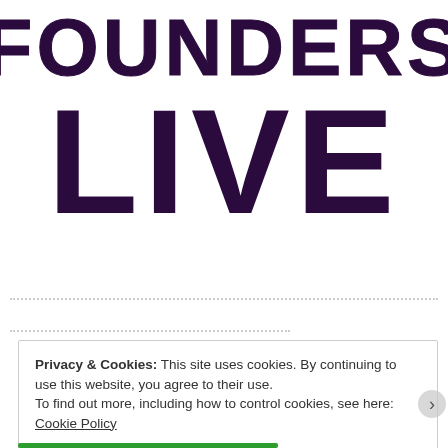FOUNDERS LIVE
Privacy & Cookies: This site uses cookies. By continuing to use this website, you agree to their use.
To find out more, including how to control cookies, see here: Cookie Policy
Close and accept